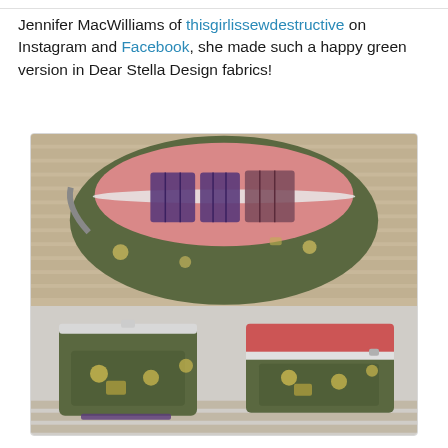Jennifer MacWilliams of thisgirlissewdestructive on Instagram and Facebook, she made such a happy green version in Dear Stella Design fabrics!
[Figure (photo): Three-panel photo collage of a green handmade bag with pink lining and purple interior organizer pockets. Top panel shows the bag open from above on a wooden slat surface. Bottom-left panel shows the closed bag from the front. Bottom-right panel shows the bag open from the front revealing red interior.]